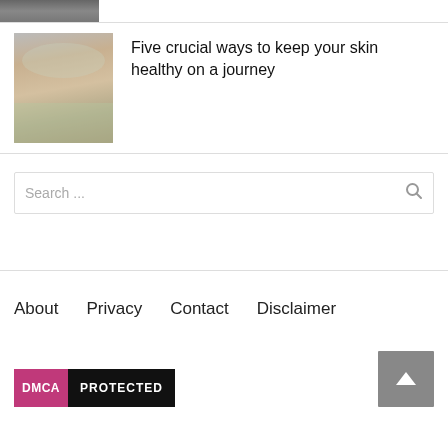[Figure (photo): Partial top image strip showing bottom of a photo, cropped]
[Figure (photo): Thumbnail of a person sitting outdoors in white clothing, holding their knees]
Five crucial ways to keep your skin healthy on a journey
Search ...
About  Privacy  Contact  Disclaimer
[Figure (other): DMCA Protected badge]
[Figure (other): Back to top button with chevron up arrow]